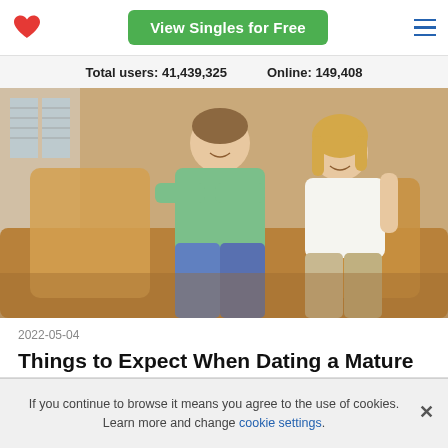View Singles for Free
Total users: 41,439,325   Online: 149,408
[Figure (photo): A man and woman smiling and sitting together on a couch with cushions]
2022-05-04
Things to Expect When Dating a Mature Woman
If you continue to browse it means you agree to the use of cookies. Learn more and change cookie settings.